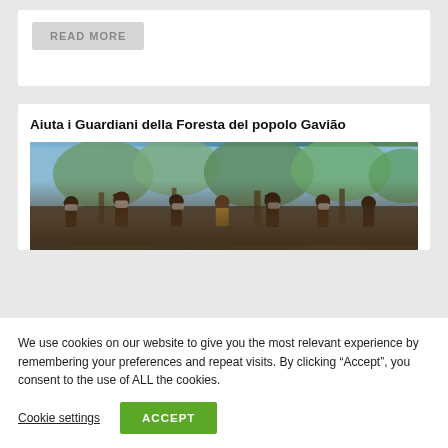READ MORE
Aiuta i Guardiani della Foresta del popolo Gavião
[Figure (photo): Group of indigenous people wearing masks raising fists in the air, with trees in the background.]
We use cookies on our website to give you the most relevant experience by remembering your preferences and repeat visits. By clicking “Accept”, you consent to the use of ALL the cookies.
Cookie settings
ACCEPT